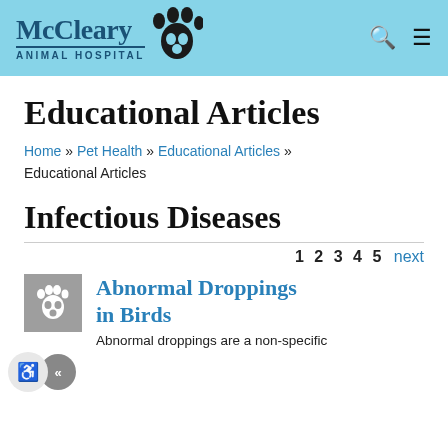McCleary Animal Hospital
Educational Articles
Home » Pet Health » Educational Articles » Educational Articles
Infectious Diseases
1 2 3 4 5 next
Abnormal Droppings in Birds
Abnormal droppings are a non-specific